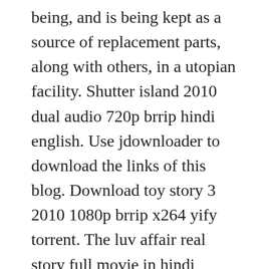being, and is being kept as a source of replacement parts, along with others, in a utopian facility. Shutter island 2010 dual audio 720p brrip hindi english. Use jdownloader to download the links of this blog. Download toy story 3 2010 1080p brrip x264 yify torrent. The luv affair real story full movie in hindi dubbed hd free download. Visitors of subtitlesbank have given a rating of 8. Sergio 2020 720p netflixwebrip x264aac 950mb scorp april 23, 2020.
Dom cobb is a skilled thief, the absolute best